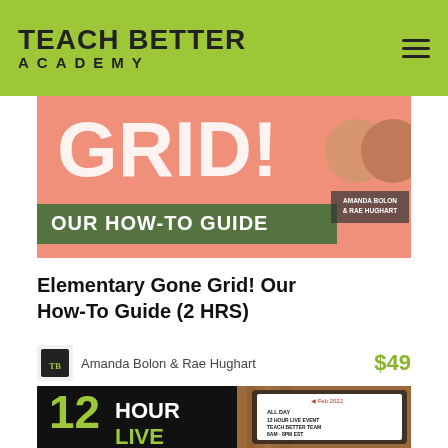TEACH BETTER ACADEMY
[Figure (illustration): Elementary Gone Grid! Our How-To Guide course banner with pink/salmon background, large 'GRID!' text, 'OUR HOW-TO GUIDE' subtitle, and two circular headshots of presenters labeled 'AMANDA BOLON & RAE HUGHART']
Elementary Gone Grid! Our How-To Guide (2 HRS)
Amanda Bolon & Rae Hughart   $49
[Figure (illustration): 12 Hour Live event promotional banner showing tablet with calendar (Feb 2022) and text: ALL DAY 12 HOUR LIVE EVENT TEACH BETTER TEAM 8AM - 8PM EST ON FACEBOOK, YOUTUBE, TWITTER, & TWITCH]